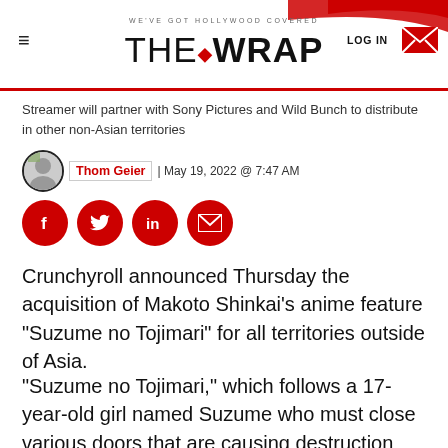WE'VE GOT HOLLYWOOD COVERED | THE WRAP | LOG IN
Streamer will partner with Sony Pictures and Wild Bunch to distribute in other non-Asian territories
Thom Geier | May 19, 2022 @ 7:47 AM
[Figure (infographic): Four red circular social media share buttons: Facebook, Twitter, LinkedIn, Email]
Crunchyroll announced Thursday the acquisition of Makoto Shinkai’s anime feature “Suzume no Tojimari” for all territories outside of Asia.
“Suzume no Tojimari,” which follows a 17-year-old girl named Suzume who must close various doors that are causing destruction throughout Japan, will debut in Japan on Nov. 11 this year from Toho, and will be distributed in all major territories beginning in early